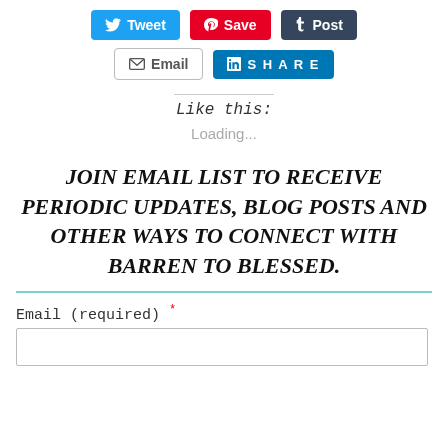[Figure (screenshot): Social share buttons row 1: Tweet (Twitter/blue), Save (Pinterest/red), Post (Tumblr/dark blue)]
[Figure (screenshot): Social share buttons row 2: Email (grey outline), SHARE (LinkedIn/blue)]
Like this:
Loading...
JOIN EMAIL LIST TO RECEIVE PERIODIC UPDATES, BLOG POSTS AND OTHER WAYS TO CONNECT WITH BARREN TO BLESSED.
Email (required) *